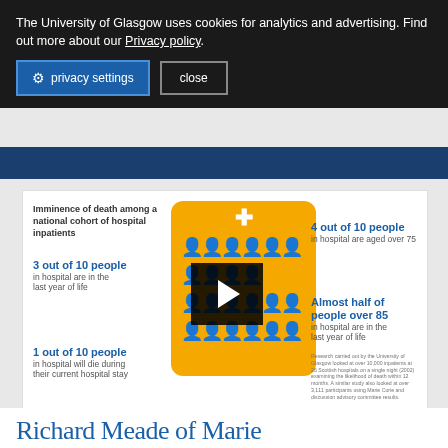The University of Glasgow uses cookies for analytics and advertising. Find out more about our Privacy policy.
[Figure (infographic): Infographic titled 'Imminence of death among a national cohort of hospital inpatients' showing statistics: 3 out of 10 people in hospital are in the last year of life; 4 out of 10 people in hospital are aged over 75; Almost half of people over 85 in hospital are in the last year of life; 1 out of 10 people in hospital will die during their current hospital stay. Center yellow card with human figure icons and a video play button overlay. University of Glasgow, Marie Curie logos.]
Richard Meade of Marie